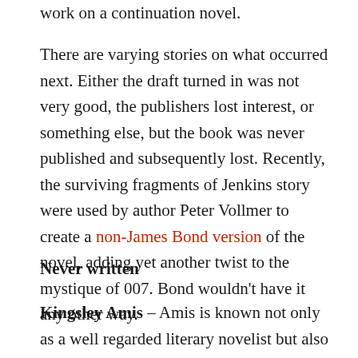work on a continuation novel.
There are varying stories on what occurred next. Either the draft turned in was not very good, the publishers lost interest, or something else, but the book was never published and subsequently lost. Recently, the surviving fragments of Jenkins story were used by author Peter Vollmer to create a non-James Bond version of the novel, adding yet another twist to the mystique of 007. Bond wouldn't have it any other way.
Never written
Kingsley Amis – Amis is known not only as a well regarded literary novelist but also the first James Bond superfan. He wrote two books on Bond – The James